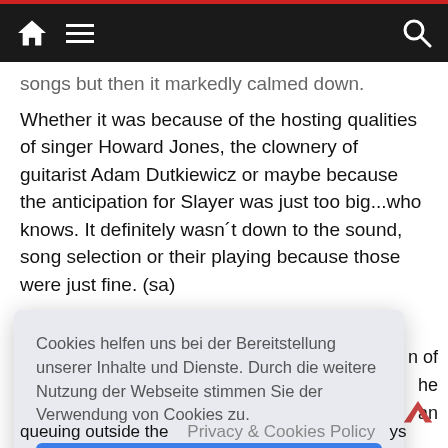navigation bar with home icon, hamburger menu, and search icon
songs but then it markedly calmed down. Whether it was because of the hosting qualities of singer Howard Jones, the clownery of guitarist Adam Dutkiewicz or maybe because the anticipation for Slayer was just too big...who knows. It definitely wasn´t down to the sound, song selection or their playing because those were just fine. (sa)
[Figure (screenshot): Cookie consent dialog overlay in German: 'Cookies helfen uns bei der Bereitstellung unserer Inhalte und Dienste. Durch die weitere Nutzung der Webseite stimmen Sie der Verwendung von Cookies zu.' with blue 'Okay!' button and 'Privacy & Cookies Policy' link]
queuing outside the
Privacy & Cookies Policy
ys
n of
he
an
till